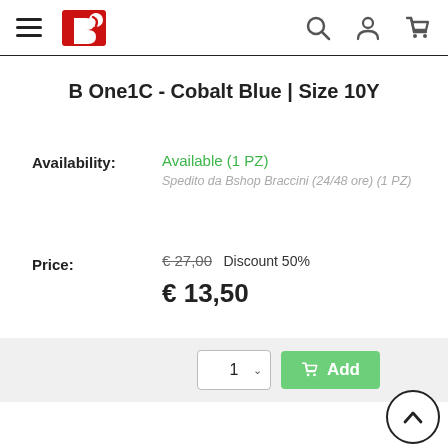[Figure (logo): Navigation header with hamburger menu, red brand logo (stylized B), search icon, user icon, and cart icon]
B One1C - Cobalt Blue | Size 10Y
Availability: Available (1 PZ)
Spedito da Bshop Braccini (24/48 ore) (1 PZ)
Price: € 27,00 Discount 50%
€ 13,50